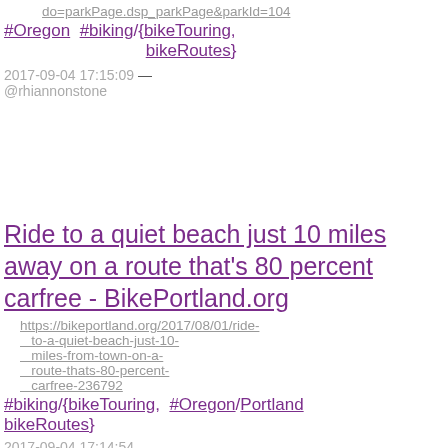do=parkPage.dsp_parkPage&parkId=104
#Oregon #biking/{bikeTouring, bikeRoutes}
2017-09-04 17:15:09 — @rhiannonstone
Ride to a quiet beach just 10 miles away on a route that's 80 percent carfree - BikePortland.org
https://bikeportland.org/2017/08/01/ride-to-a-quiet-beach-just-10-miles-from-town-on-a-route-thats-80-percent-carfree-236792
#biking/{bikeTouring, #Oregon/Portland bikeRoutes}
2017-09-04 17:14:54 — @rhiannonstone
FOB Women of Color Bikecamping to Milo McIver - A bike ride in Portland